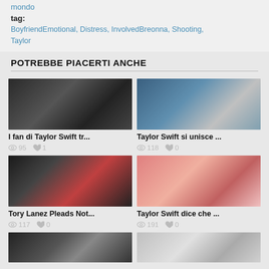mondo
tag: BoyfriendEmotional, Distress, InvolvedBreonna, Shooting, Taylor
POTREBBE PIACERTI ANCHE
[Figure (photo): Photo of Taylor Swift at an event]
I fan di Taylor Swift tr...
95 views, 1 like
[Figure (photo): Photo of Taylor Swift and Ryan Reynolds]
Taylor Swift si unisce ...
118 views, 0 likes
[Figure (photo): Photo of Tory Lanez and Megan Thee Stallion]
Tory Lanez Pleads Not...
117 views, 0 likes
[Figure (photo): Photo of Taylor Swift at Bumble event]
Taylor Swift dice che ...
191 views, 0 likes
[Figure (photo): Photo thumbnail bottom left]
[Figure (photo): Photo thumbnail bottom right]